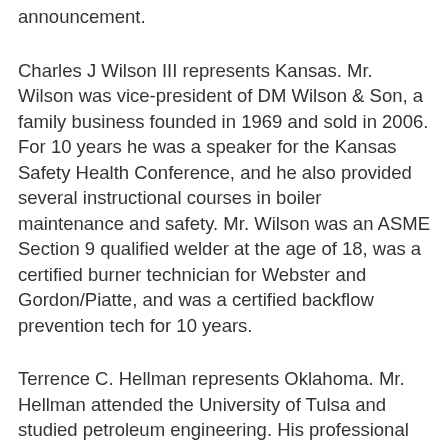announcement.
Charles J Wilson III represents Kansas. Mr. Wilson was vice-president of DM Wilson & Son, a family business founded in 1969 and sold in 2006. For 10 years he was a speaker for the Kansas Safety Health Conference, and he also provided several instructional courses in boiler maintenance and safety. Mr. Wilson was an ASME Section 9 qualified welder at the age of 18, was a certified burner technician for Webster and Gordon/Piatte, and was a certified backflow prevention tech for 10 years.
Terrence C. Hellman represents Oklahoma. Mr. Hellman attended the University of Tulsa and studied petroleum engineering. His professional career began in 1997 with Morgan Well Services and Helmerich & Payne where we worked as a roustabout. In 1999, he worked for Oak Resources as a production technician. He then became a